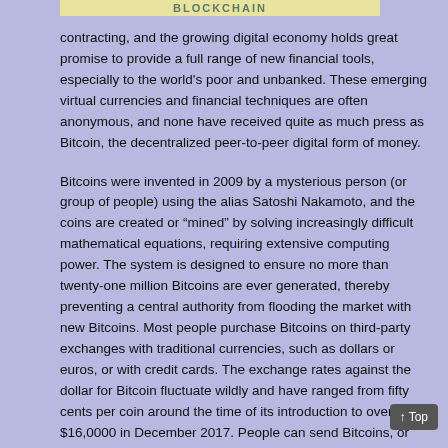BLOCKCHAIN
contracting, and the growing digital economy holds great promise to provide a full range of new financial tools, especially to the world's poor and unbanked. These emerging virtual currencies and financial techniques are often anonymous, and none have received quite as much press as Bitcoin, the decentralized peer-to-peer digital form of money.
Bitcoins were invented in 2009 by a mysterious person (or group of people) using the alias Satoshi Nakamoto, and the coins are created or “mined” by solving increasingly difficult mathematical equations, requiring extensive computing power. The system is designed to ensure no more than twenty-one million Bitcoins are ever generated, thereby preventing a central authority from flooding the market with new Bitcoins. Most people purchase Bitcoins on third-party exchanges with traditional currencies, such as dollars or euros, or with credit cards. The exchange rates against the dollar for Bitcoin fluctuate wildly and have ranged from fifty cents per coin around the time of its introduction to over $16,0000 in December 2017. People can send Bitcoins, or percentages of bitcoin, to each other using computers or mobile apps, where coins are stored in digital wallets. Bitcoins...